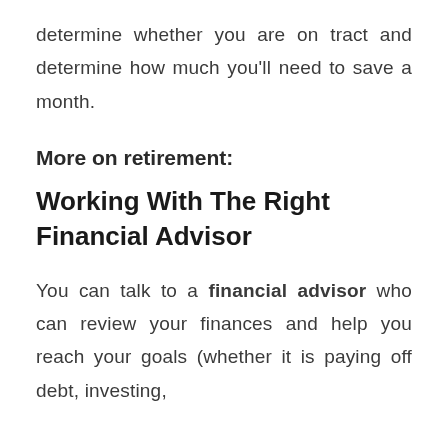determine whether you are on tract and determine how much you'll need to save a month.
More on retirement:
Working With The Right Financial Advisor
You can talk to a financial advisor who can review your finances and help you reach your goals (whether it is paying off debt, investing,